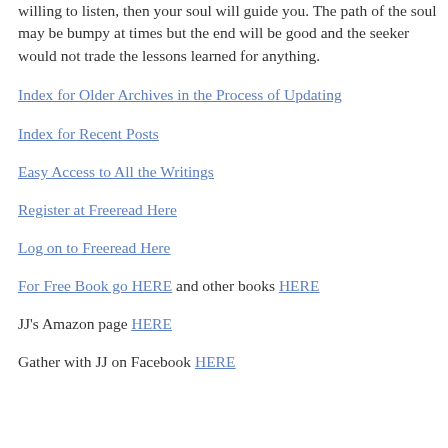willing to listen, then your soul will guide you. The path of the soul may be bumpy at times but the end will be good and the seeker would not trade the lessons learned for anything.
Index for Older Archives in the Process of Updating
Index for Recent Posts
Easy Access to All the Writings
Register at Freeread Here
Log on to Freeread Here
For Free Book go HERE and other books HERE
JJ's Amazon page HERE
Gather with JJ on Facebook HERE